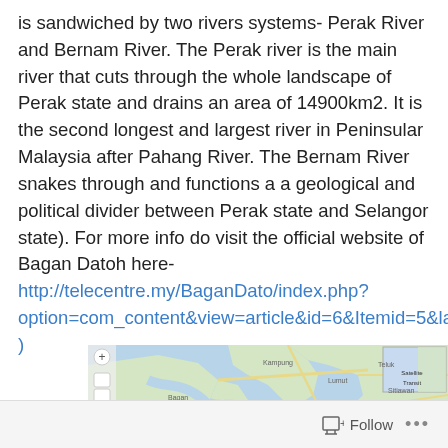is sandwiched by two rivers systems- Perak River and Bernam River. The Perak river is the main river that cuts through the whole landscape of Perak state and drains an area of 14900km2. It is the second longest and largest river in Peninsular Malaysia after Pahang River. The Bernam River snakes through and functions a a geological and political divider between Perak state and Selangor state). For more info do visit the official website of Bagan Datoh here-http://telecentre.my/BaganDato/index.php?option=com_content&view=article&id=6&Itemid=5&lang=en )
[Figure (map): A Google Maps view showing the Bagan Datoh area with rivers, roads, and surrounding region. The map shows a coastal/river delta area with blue water bodies and road networks.]
Follow ...